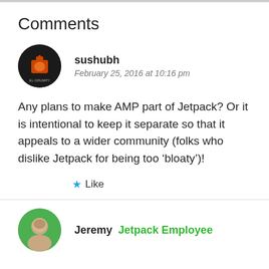Comments
sushubh
February 25, 2016 at 10:16 pm
Any plans to make AMP part of Jetpack? Or it is intentional to keep it separate so that it appeals to a wider community (folks who dislike Jetpack for being too ‘bloaty’)!
★ Like
Jeremy  Jetpack Employee